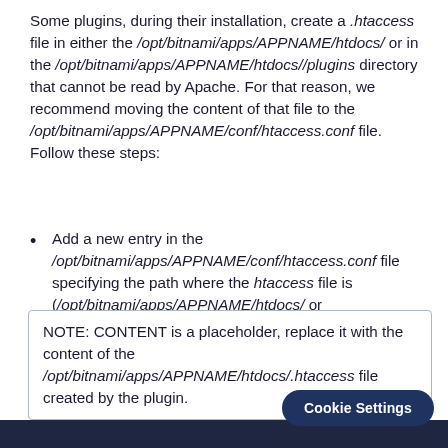Some plugins, during their installation, create a .htaccess file in either the /opt/bitnami/apps/APPNAME/htdocs/ or in the /opt/bitnami/apps/APPNAME/htdocs//plugins directory that cannot be read by Apache. For that reason, we recommend moving the content of that file to the /opt/bitnami/apps/APPNAME/conf/htaccess.conf file. Follow these steps:
Add a new entry in the /opt/bitnami/apps/APPNAME/conf/htaccess.conf file specifying the path where the htaccess file is (/opt/bitnami/apps/APPNAME/htdocs/ or /opt/bitnami/apps/APPNAME/htdocs//plugins) and pasting below the content of that file.
NOTE: CONTENT is a placeholder, replace it with the content of the /opt/bitnami/apps/APPNAME/htdocs/.htaccess file created by the plugin.